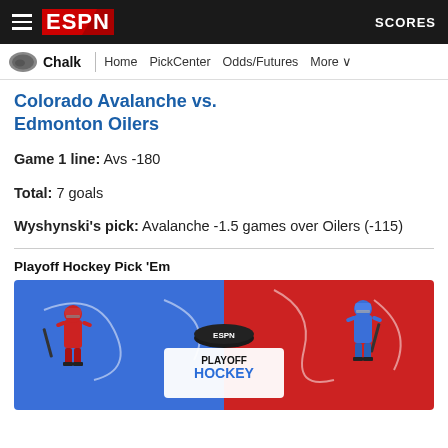ESPN — SCORES
Chalk | Home | PickCenter | Odds/Futures | More
Colorado Avalanche vs. Edmonton Oilers
Game 1 line: Avs -180
Total: 7 goals
Wyshynski's pick: Avalanche -1.5 games over Oilers (-115)
Playoff Hockey Pick 'Em
[Figure (illustration): ESPN Playoff Hockey Pick Em promotional banner with cartoon hockey players on blue and red background]